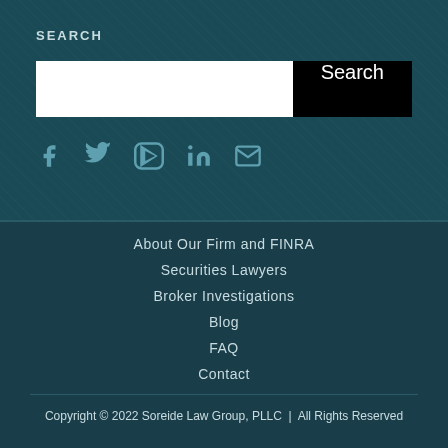SEARCH
[Figure (other): Search input box with white background and black Search button]
[Figure (other): Social media icons row: Facebook, Twitter, YouTube, LinkedIn, Email]
About Our Firm and FINRA
Securities Lawyers
Broker Investigations
Blog
FAQ
Contact
Copyright © 2022 Soreide Law Group, PLLC  |  All Rights Reserved